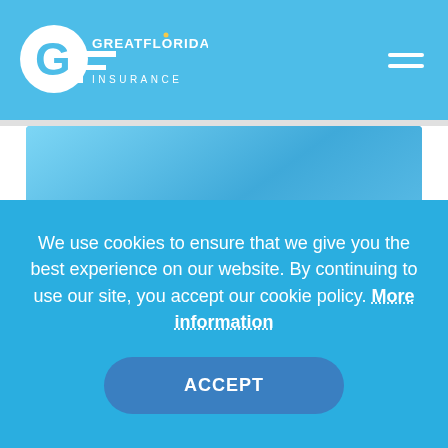[Figure (logo): GreatFlorida Insurance logo in white on blue header background]
[Figure (photo): Blue sky background image used as hero banner for commercial auto insurance page]
If your business uses a truck, SUV, sedan, or any other vehicle to carry out business tasks, it
We use cookies to ensure that we give you the best experience on our website. By continuing to use our site, you accept our cookie policy. More information
ACCEPT